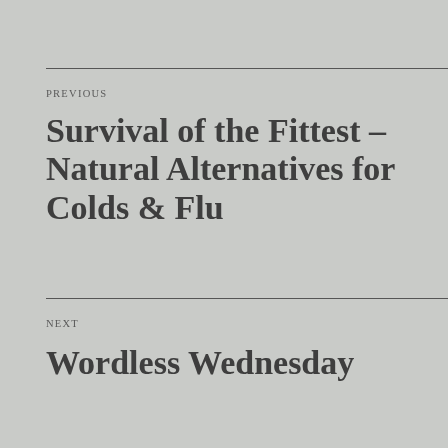PREVIOUS
Survival of the Fittest – Natural Alternatives for Colds & Flu
NEXT
Wordless Wednesday